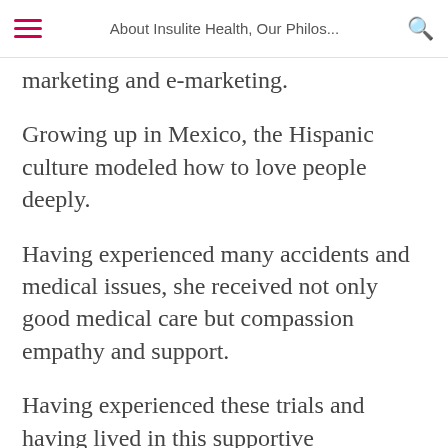About Insulite Health, Our Philos...
marketing and e-marketing.
Growing up in Mexico, the Hispanic culture modeled how to love people deeply.
Having experienced many accidents and medical issues, she received not only good medical care but compassion empathy and support.
Having experienced these trials and having lived in this supportive environment, she